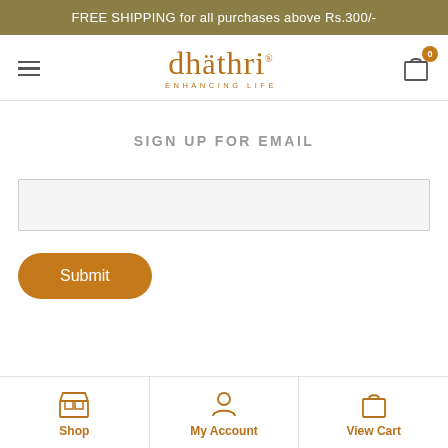FREE SHIPPING for all purchases above Rs.300/-
[Figure (logo): Dhathri logo with text 'dhäthri' and tagline 'ENHANCING LIFE' in brown/gold color]
SIGN UP FOR EMAIL
[Figure (screenshot): Email input text field with light gray background]
Submit
Shop | My Account | View Cart